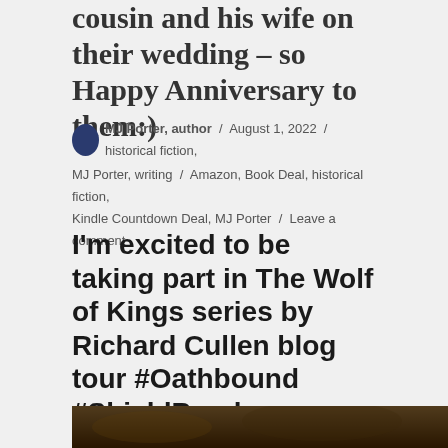cousin and his wife on their wedding – so Happy Anniversary to them:)
MJ Porter, author / August 1, 2022 / historical fiction, MJ Porter, writing / Amazon, Book Deal, historical fiction, Kindle Countdown Deal, MJ Porter / Leave a comment
I'm excited to be taking part in The Wolf of Kings series by Richard Cullen blog tour #Oathbound #ShieldBreaker #TheWolfOfKings
[Figure (photo): Bottom strip of a book cover image, dark tones with browns and blacks]